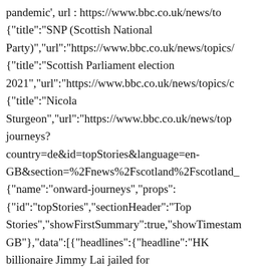pandemic', url : https://www.bbc.co.uk/news/to {"title":"SNP (Scottish National Party)","url":"https://www.bbc.co.uk/news/topics/ {"title":"Scottish Parliament election 2021","url":"https://www.bbc.co.uk/news/topics/c {"title":"Nicola Sturgeon","url":"https://www.bbc.co.uk/news/top journeys? country=de&id=topStories&language=en-GB&section=%2Fnews%2Fscotland%2Fscotland_ {"name":"onward-journeys","props": {"id":"topStories","sectionHeader":"Top Stories","showFirstSummary":true,"showTimestam GB"},"data":[{"headlines":{"headline":"HK billionaire Jimmy Lai jailed for